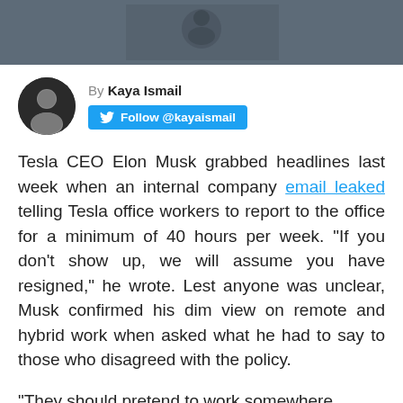[Figure (photo): Header image, partially visible, dark gray tones with a person silhouette]
By Kaya Ismail
Follow @kayaismail
Tesla CEO Elon Musk grabbed headlines last week when an internal company email leaked telling Tesla office workers to report to the office for a minimum of 40 hours per week. "If you don't show up, we will assume you have resigned," he wrote. Lest anyone was unclear, Musk confirmed his dim view on remote and hybrid work when asked what he had to say to those who disagreed with the policy.
"They should pretend to work somewhere else"